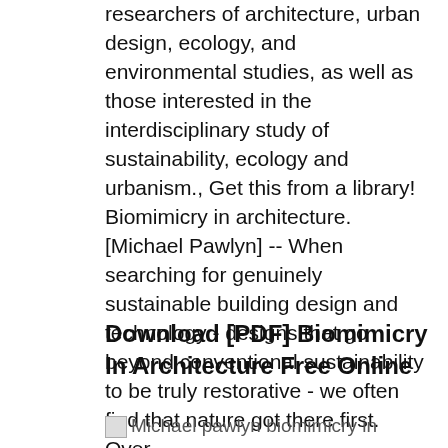researchers of architecture, urban design, ecology, and environmental studies, as well as those interested in the interdisciplinary study of sustainability, ecology and urbanism., Get this from a library! Biomimicry in architecture. [Michael Pawlyn] -- When searching for genuinely sustainable building design and technology - designs that go beyond conventional sustainability to be truly restorative - we often find that nature got there first. Over.
Download [PDF] Biomimicry In Architecture Free Online
[Figure (photo): Broken image placeholder with alt text 'Michael pawlyn biomimicry in']